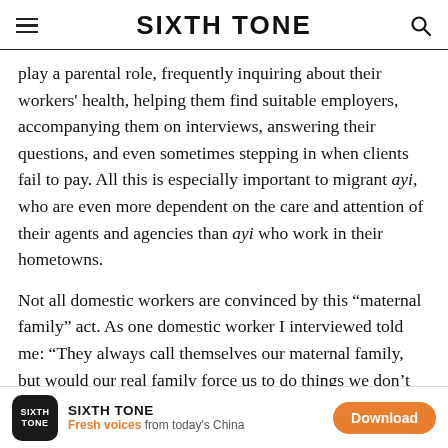SIXTH TONE
play a parental role, frequently inquiring about their workers' health, helping them find suitable employers, accompanying them on interviews, answering their questions, and even sometimes stepping in when clients fail to pay. All this is especially important to migrant ayi, who are even more dependent on the care and attention of their agents and agencies than ayi who work in their hometowns.
Not all domestic workers are convinced by this “maternal family” act. As one domestic worker I interviewed told me: “They always call themselves our maternal family, but would our real family force us to do things we don’t want to do?” Indeed, whenever domestic workers complain about working
SIXTH TONE — Fresh voices from today's China — Download